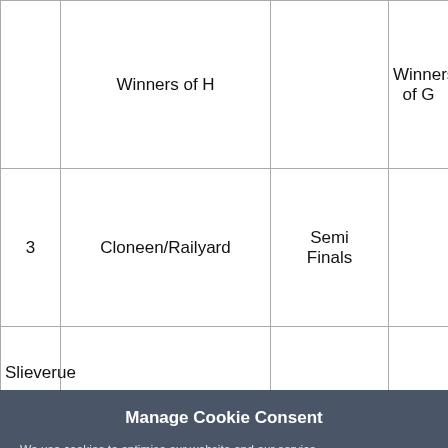|  | Venue | Stage |  |
| --- | --- | --- | --- |
|  | Winners of H |  | Winners of G |
| 3 | Cloneen/Railyard | Semi Finals |  |
| Slieverue |  |  |  |
Manage Cookie Consent
We use cookies to optimise our website and our service.
Accept
Deny
View Preferences